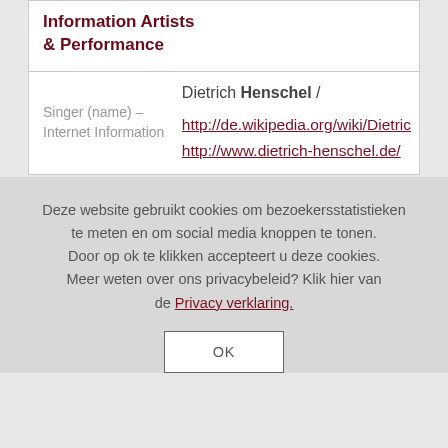Information Artists & Performance
|  |  |
| --- | --- |
| Singer (name) – Internet Information | Dietrich Henschel /
http://de.wikipedia.org/wiki/Dietric…
http://www.dietrich-henschel.de/ |
Deze website gebruikt cookies om bezoekersstatistieken te meten en om social media knoppen te tonen. Door op ok te klikken accepteert u deze cookies. Meer weten over ons privacybeleid? Klik hier van de Privacy verklaring.
OK